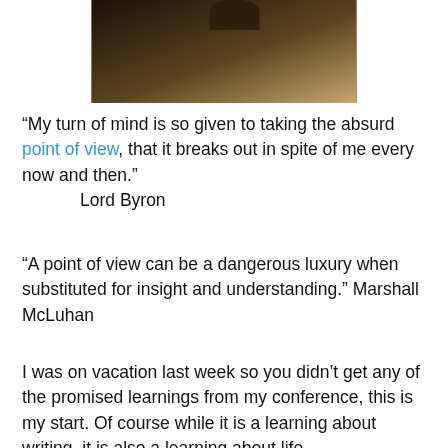[Figure (photo): Partial photograph showing a hand or fingers against a dark wooden or brown surface, cropped at top]
“My turn of mind is so given to taking the absurd point of view, that it breaks out in spite of me every now and then.”
        Lord Byron
“A point of view can be a dangerous luxury when substituted for insight and understanding.” Marshall McLuhan
I was on vacation last week so you didn’t get any of the promised learnings from my conference, this is my start. Of course while it is a learning about writing, it is also a learning about life.